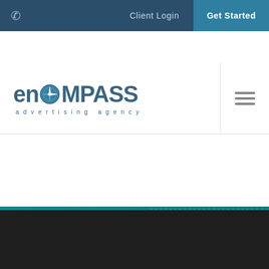Client Login | Get Started
[Figure (logo): enCOMPASS advertising agency logo with compass rose icon]
encompass blog
[Figure (screenshot): The Communicator award card preview on dark background]